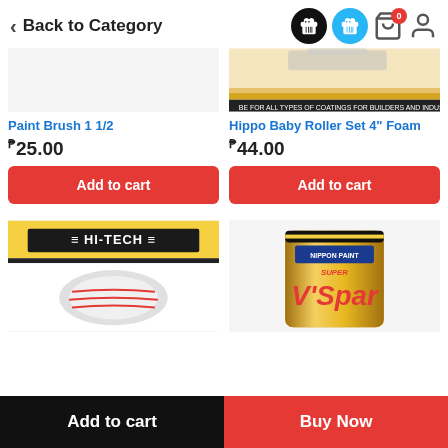< Back to Category
[Figure (photo): Product image of Hippo Baby Roller Set 4" Foam - partially visible at top, showing paint roller packaging with yellow/black branding and text 'FOR ALL TYPES OF COATINGS FOR BUILDERS AND INDUSTRIAL USE']
Paint Brush 1 1/2
₱25.00
Add to cart
Hippo Baby Roller Set 4" Foam
₱44.00
Add to cart
[Figure (photo): HI-TECH brand paint roller product in yellow and black packaging, partially visible]
[Figure (photo): Nippon Paint Super V'Spar varnish in gold/yellow cylindrical can, partially visible]
Add to cart
Buy Now